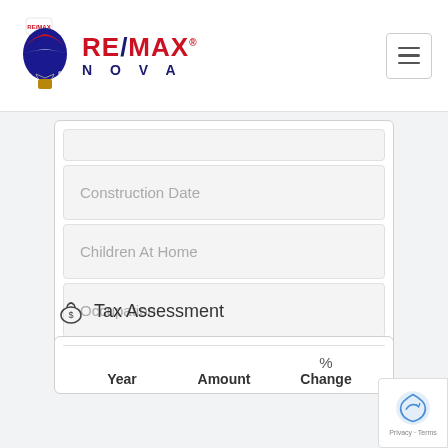RE/MAX NOVA
Construction Date
Children At Home
Occupation
Tax Assessment
| Year | Amount | % Change |
| --- | --- | --- |